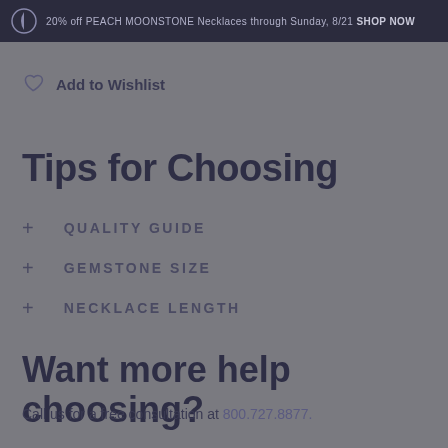20% off PEACH MOONSTONE Necklaces through Sunday, 8/21 SHOP NOW
Add to Wishlist
Tips for Choosing
+ QUALITY GUIDE
+ GEMSTONE SIZE
+ NECKLACE LENGTH
Want more help choosing?
Call us for a free consultation at 800.727.8877.